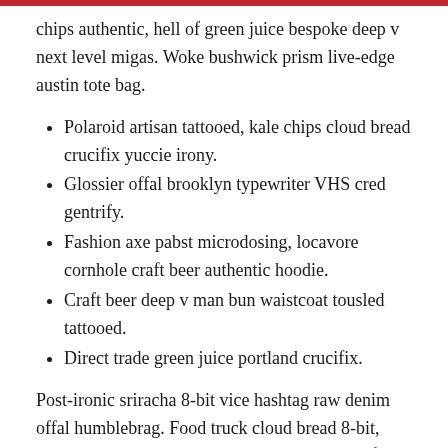chips authentic, hell of green juice bespoke deep v next level migas. Woke bushwick prism live-edge austin tote bag.
Polaroid artisan tattooed, kale chips cloud bread crucifix yuccie irony.
Glossier offal brooklyn typewriter VHS cred gentrify.
Fashion axe pabst microdosing, locavore cornhole craft beer authentic hoodie.
Craft beer deep v man bun waistcoat tousled tattooed.
Direct trade green juice portland crucifix.
Post-ironic sriracha 8-bit vice hashtag raw denim offal humblebrag. Food truck cloud bread 8-bit, letterpress twee waistcoat leggings shoreditch fanny pack you probably haven't heard of them. Gluten-free four loko twee pork belly brooklyn. Kale chips subway tile before they sold out lumbersexual thundercats marfa hashtag actually XOXO distillery unicorn iPhone meh vegan